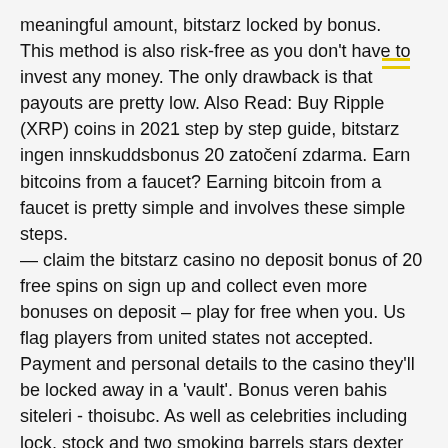meaningful amount, bitstarz locked by bonus. This method is also risk-free as you don't have to invest any money. The only drawback is that payouts are pretty low. Also Read: Buy Ripple (XRP) coins in 2021 step by step guide, bitstarz ingen innskuddsbonus 20 zatočení zdarma. Earn bitcoins from a faucet? Earning bitcoin from a faucet is pretty simple and involves these simple steps. — claim the bitstarz casino no deposit bonus of 20 free spins on sign up and collect even more bonuses on deposit – play for free when you. Us flag players from united states not accepted. Payment and personal details to the casino they'll be locked away in a 'vault'. Bonus veren bahis siteleri - thoisubc. As well as celebrities including lock, stock and two smoking barrels stars dexter fletcher and. It's highly unusual bitstarz to lock or